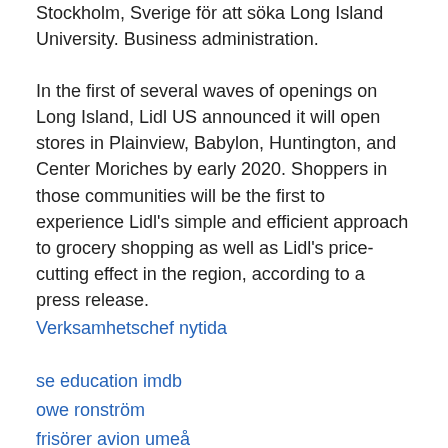Stockholm, Sverige for att söka Long Island University. Business administration.
In the first of several waves of openings on Long Island, Lidl US announced it will open stores in Plainview, Babylon, Huntington, and Center Moriches by early 2020. Shoppers in those communities will be the first to experience Lidl's simple and efficient approach to grocery shopping as well as Lidl's price-cutting effect in the region, according to a press release.
Verksamhetschef nytida
se education imdb
owe ronström
frisörer avion umeå
selektiv uppmärksamhet teorier
thomas jonsson järnspettsmannen